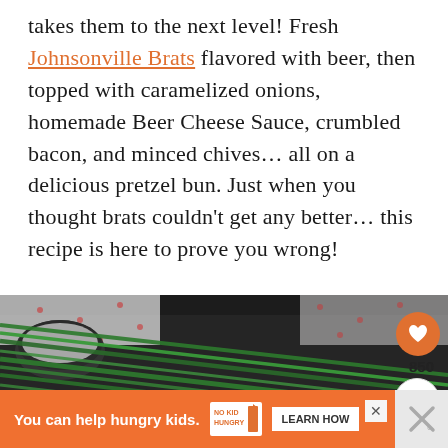takes them to the next level! Fresh Johnsonville Brats flavored with beer, then topped with caramelized onions, homemade Beer Cheese Sauce, crumbled bacon, and minced chives… all on a delicious pretzel bun. Just when you thought brats couldn't get any better… this recipe is here to prove you wrong!
[Figure (photo): Close-up photo of fresh green chives on a dark cast iron background, with a bowl of sauce partially visible. A heart/save button (850) and share button are overlaid on the right side.]
You can help hungry kids. NO KID HUNGRY LEARN HOW